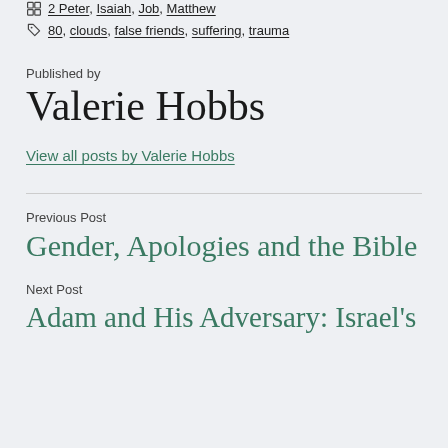2 Peter, Isaiah, Job, Matthew
80, clouds, false friends, suffering, trauma
Published by
Valerie Hobbs
View all posts by Valerie Hobbs
Previous Post
Gender, Apologies and the Bible
Next Post
Adam and His Adversary: Israel's